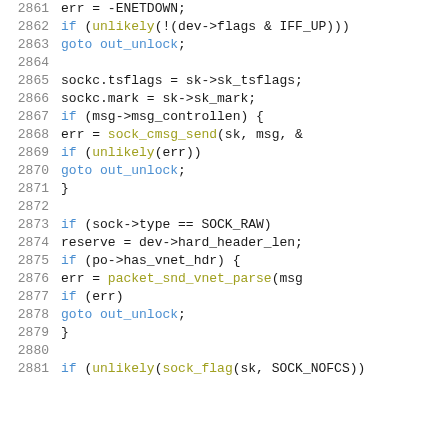Source code listing, lines 2861-2881, C kernel networking code